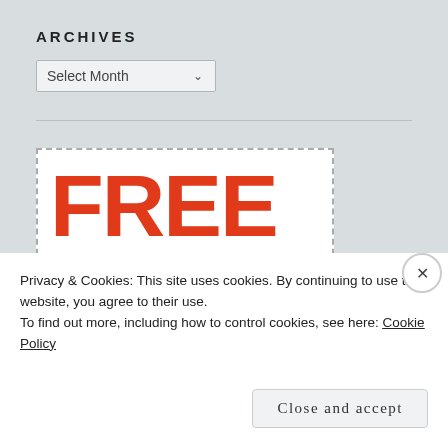ARCHIVES
Select Month
[Figure (infographic): Advertisement banner with dashed border showing FREE BIBLE STUDY GUIDES FAMILY WORSHIP GUIDES RESOURCES FOR SMALL GROUPS in red and dark text]
Privacy & Cookies: This site uses cookies. By continuing to use this website, you agree to their use.
To find out more, including how to control cookies, see here: Cookie Policy
Close and accept